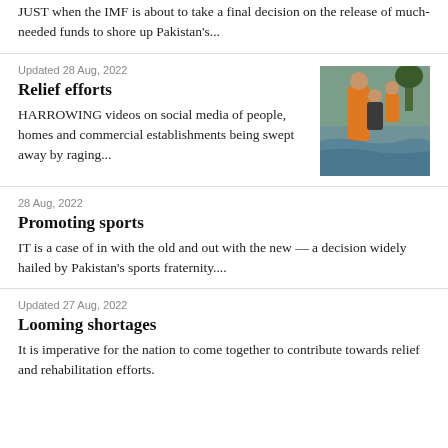JUST when the IMF is about to take a final decision on the release of much-needed funds to shore up Pakistan's...
Updated 28 Aug, 2022
Relief efforts
HARROWING videos on social media of people, homes and commercial establishments being swept away by raging...
[Figure (photo): Rescue workers in orange vests carrying children through floodwater]
28 Aug, 2022
Promoting sports
IT is a case of in with the old and out with the new — a decision widely hailed by Pakistan's sports fraternity....
Updated 27 Aug, 2022
Looming shortages
It is imperative for the nation to come together to contribute towards relief and rehabilitation efforts.